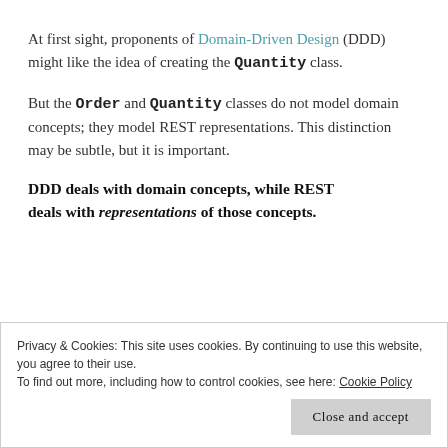At first sight, proponents of Domain-Driven Design (DDD) might like the idea of creating the Quantity class.
But the Order and Quantity classes do not model domain concepts; they model REST representations. This distinction may be subtle, but it is important.
DDD deals with domain concepts, while REST deals with representations of those concepts.
Privacy & Cookies: This site uses cookies. By continuing to use this website, you agree to their use. To find out more, including how to control cookies, see here: Cookie Policy
For instance, a collection REST resource may use